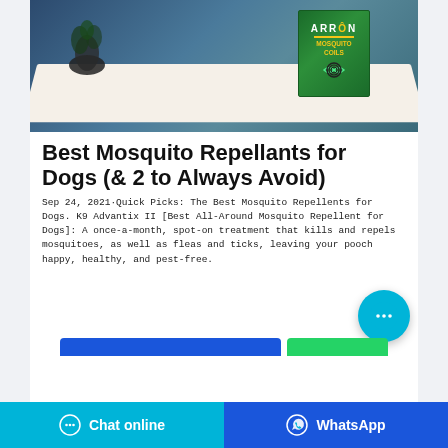[Figure (photo): Product photo of ARRON Mosquito Coils box on a white fabric/tablecloth background with decorative plant silhouette, against a dark teal/blue background.]
Best Mosquito Repellants for Dogs (& 2 to Always Avoid)
Sep 24, 2021·Quick Picks: The Best Mosquito Repellents for Dogs. K9 Advantix II [Best All-Around Mosquito Repellent for Dogs]: A once-a-month, spot-on treatment that kills and repels mosquitoes, as well as fleas and ticks, leaving your pooch happy, healthy, and pest-free.
[Figure (screenshot): Chat online and WhatsApp buttons at bottom of page. Blue chat online button on left, dark blue WhatsApp button on right.]